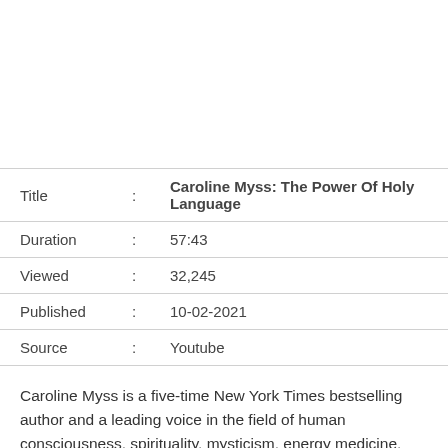| Field |  | Value |
| --- | --- | --- |
| Title | : | Caroline Myss: The Power Of Holy Language |
| Duration | : | 57:43 |
| Viewed | : | 32,245 |
| Published | : | 10-02-2021 |
| Source | : | Youtube |
Caroline Myss is a five-time New York Times bestselling author and a leading voice in the field of human consciousness, spirituality, mysticism, energy medicine, and the science of medical intuition. A long-time friend of Tami